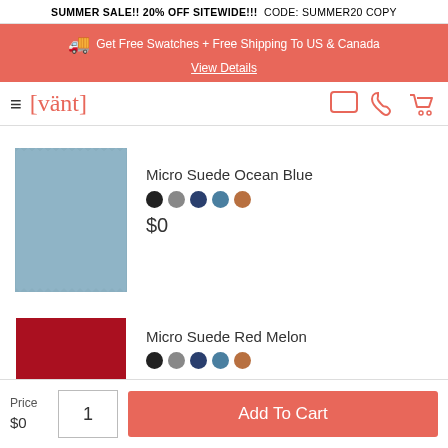SUMMER SALE!! 20% OFF SITEWIDE!!! CODE: SUMMER20 COPY
Get Free Swatches + Free Shipping To US & Canada View Details
[Figure (logo): Vant logo with hamburger menu icon and navigation icons (chat, phone, cart)]
[Figure (photo): Micro Suede Ocean Blue fabric swatch - blue-grey rectangular swatch with zigzag edges]
Micro Suede Ocean Blue
$0
[Figure (photo): Micro Suede Red Melon fabric swatch - red rectangular swatch with zigzag edges]
Micro Suede Red Melon
Price $0
1
Add To Cart